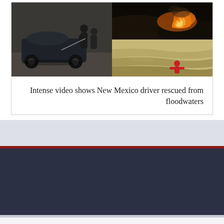[Figure (photo): Two-photo collage: left photo shows a person and officer next to a dark SUV on gravel; right top shows a burning hillside at night with flames; right bottom shows a flooded brown river with a small figure in red visible in the water.]
Intense video shows New Mexico driver rescued from floodwaters
CCPA – California Consumer Privacy Act   DMCA   Privacy Policy   Terms of Use   News Net Daily